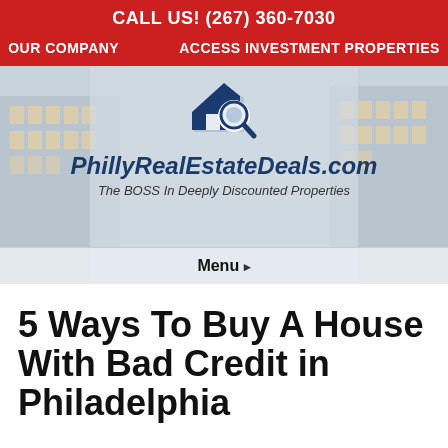CALL US! (267) 360-7030
OUR COMPANY   ACCESS INVESTMENT PROPERTIES
[Figure (logo): PhillyRealEstateDeals.com logo with house and magnifying glass icon, blue color]
5 Ways To Buy A House With Bad Credit in Philadelphia